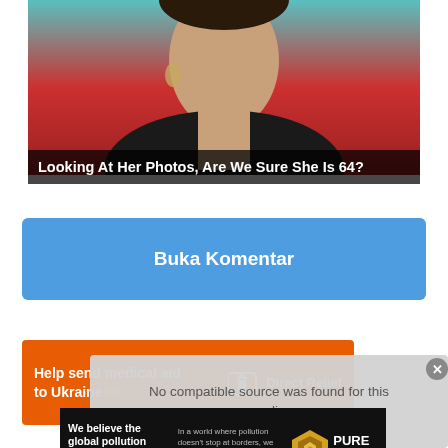[Figure (photo): Cropped photo of a woman with dark hair, wearing black, against a red background]
Looking At Her Photos, Are We Sure She Is 64?
Buka Komentar
[Figure (other): Direct Relief advertisement: Help send medical aid to Ukraine >> with Direct Relief logo on orange background]
[Figure (screenshot): Video player overlay: No compatible source was found for this media.]
[Figure (other): Pure Earth advertisement: We believe the global pollution crisis can be solved. In a world where pollution doesn't stop at borders, we can all be part of the solution. JOIN US. With Pure Earth logo.]